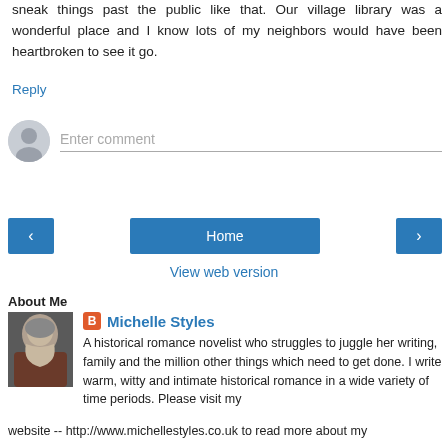sneak things past the public like that. Our village library was a wonderful place and I know lots of my neighbors would have been heartbroken to see it go.
Reply
[Figure (other): Comment input row with user avatar circle and Enter comment placeholder text field]
[Figure (other): Navigation buttons: left arrow, Home, right arrow]
View web version
About Me
[Figure (photo): Profile photo of Michelle Styles, a woman with short grey hair and red scarf]
Michelle Styles
A historical romance novelist who struggles to juggle her writing, family and the million other things which need to get done. I write warm, witty and intimate historical romance in a wide variety of time periods. Please visit my website -- http://www.michellestyles.co.uk to read more about my